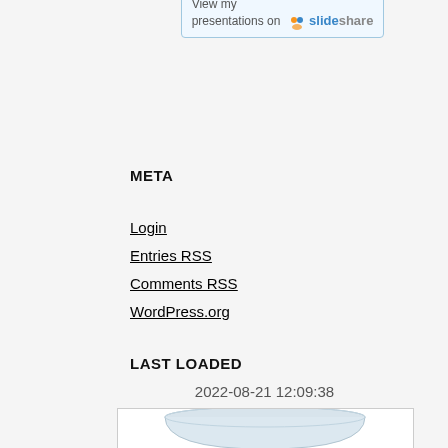[Figure (screenshot): SlideShare button: 'View my presentations on slideshare' with orange figure icon and blue/grey text]
META
Login
Entries RSS
Comments RSS
WordPress.org
LAST LOADED
2022-08-21 12:09:38
[Figure (photo): Photo of a white/blue ceramic mug or bowl, partially visible at bottom of page]